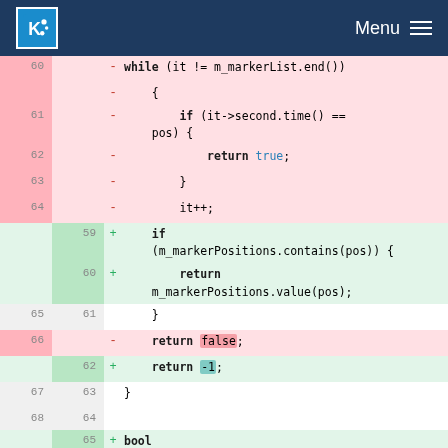KDE Menu
[Figure (screenshot): Code diff view showing removed and added lines in a C++ source file. Removed lines (pink background) show old marker list iteration logic; added lines (green background) show new m_markerPositions.contains/value approach. Context lines show closing braces and a new bool MarkerListModel::hasMarker function.]